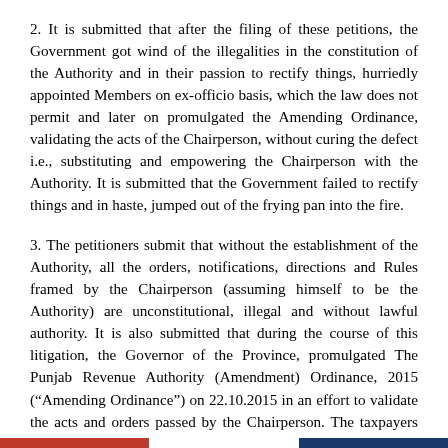2. It is submitted that after the filing of these petitions, the Government got wind of the illegalities in the constitution of the Authority and in their passion to rectify things, hurriedly appointed Members on ex-officio basis, which the law does not permit and later on promulgated the Amending Ordinance, validating the acts of the Chairperson, without curing the defect i.e., substituting and empowering the Chairperson with the Authority. It is submitted that the Government failed to rectify things and in haste, jumped out of the frying pan into the fire.
3. The petitioners submit that without the establishment of the Authority, all the orders, notifications, directions and Rules framed by the Chairperson (assuming himself to be the Authority) are unconstitutional, illegal and without lawful authority. It is also submitted that during the course of this litigation, the Governor of the Province, promulgated The Punjab Revenue Authority (Amendment) Ordinance, 2015 (“Amending Ordinance”) on 22.10.2015 in an effort to validate the acts and orders passed by the Chairperson. The taxpayers have also